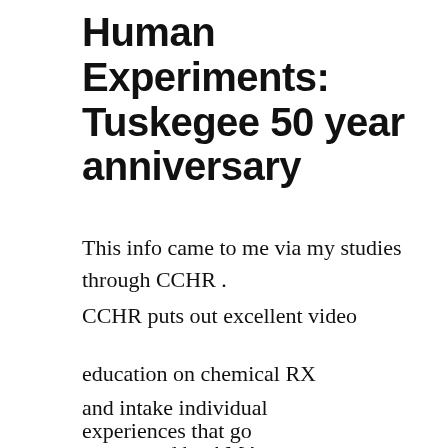Human Experiments: Tuskegee 50 year anniversary
This info came to me via my studies through CCHR .
CCHR puts out excellent video
education on chemical RX
and intake individual
experiences that go
unreported by AMA .